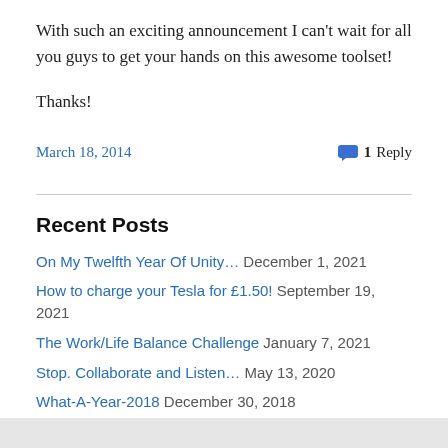With such an exciting announcement I can't wait for all you guys to get your hands on this awesome toolset!

Thanks!
March 18, 2014   💬 1 Reply
Recent Posts
On My Twelfth Year Of Unity… December 1, 2021
How to charge your Tesla for £1.50! September 19, 2021
The Work/Life Balance Challenge January 7, 2021
Stop. Collaborate and Listen… May 13, 2020
What-A-Year-2018 December 30, 2018